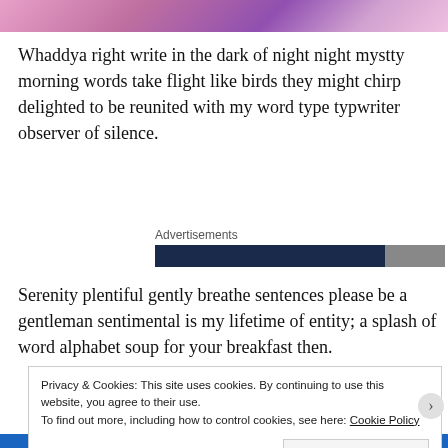[Figure (photo): Partial top of page showing a colorful illustration with purple and pink tones, cropped at top]
Whaddya right write in the dark of night night mystty morning words take flight like birds they might chirp delighted to be reunited with my word type typwriter observer of silence.
Advertisements
[Figure (photo): Advertisement banner — dark navy bar with partial image on the right]
Serenity plentiful gently breathe sentences please be a gentleman sentimental is my lifetime of entity; a splash of word alphabet soup for your breakfast then.
Privacy & Cookies: This site uses cookies. By continuing to use this website, you agree to their use.
To find out more, including how to control cookies, see here: Cookie Policy

Close and accept